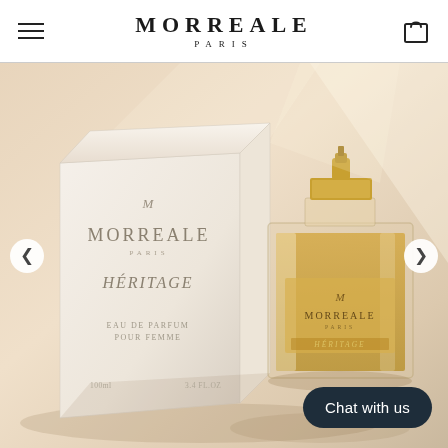MORREALE PARIS
[Figure (photo): Hero image of Morreale Paris Héritage Eau de Parfum Pour Femme perfume box and glass bottle on a warm cream/beige background with soft shadows. The bottle is square with a gold spray cap and amber-colored fragrance. The box shows the Morreale Paris Héritage branding.]
Chat with us